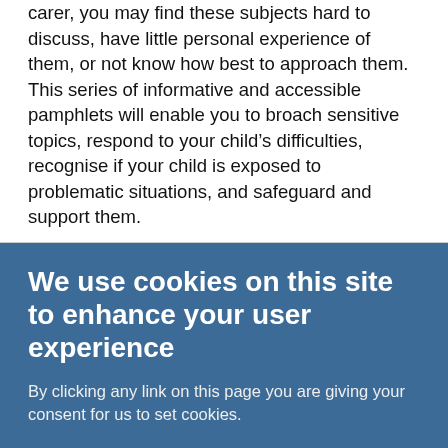carer, you may find these subjects hard to discuss, have little personal experience of them, or not know how best to approach them. This series of informative and accessible pamphlets will enable you to broach sensitive topics, respond to your child's difficulties, recognise if your child is exposed to problematic situations, and safeguard and support them.
We use cookies on this site to enhance your user experience
By clicking any link on this page you are giving your consent for us to set cookies.
OK, I AGREE
NO, GIVE ME MORE INFO